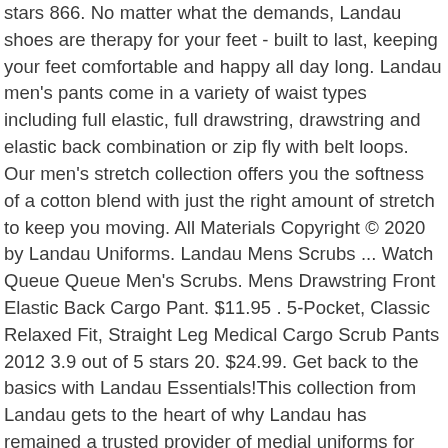stars 866. No matter what the demands, Landau shoes are therapy for your feet - built to last, keeping your feet comfortable and happy all day long. Landau men's pants come in a variety of waist types including full elastic, full drawstring, drawstring and elastic back combination or zip fly with belt loops. Our men's stretch collection offers you the softness of a cotton blend with just the right amount of stretch to keep you moving. All Materials Copyright © 2020 by Landau Uniforms. Landau Mens Scrubs ... Watch Queue Queue Men's Scrubs. Mens Drawstring Front Elastic Back Cargo Pant. $11.95 . 5-Pocket, Classic Relaxed Fit, Straight Leg Medical Cargo Scrub Pants 2012 3.9 out of 5 stars 20. $24.99. Get back to the basics with Landau Essentials!This collection from Landau gets to the heart of why Landau has remained a trusted provider of medial uniforms for more than 50 years: smart, simple and sharp men's and women's nursing scrubs that stand up ... Landau scrub pants for men and women are made with premium fabrics and finished with high-value details. $32.00. This men's V-neck pullover scru